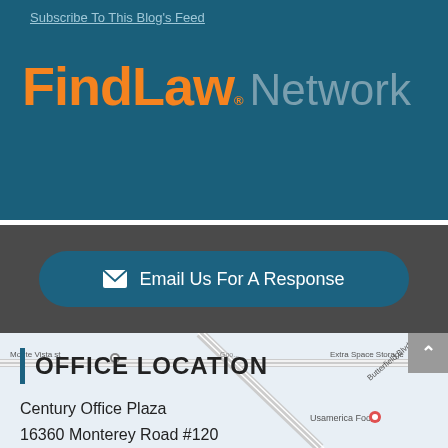Subscribe To This Blog's Feed
[Figure (logo): FindLaw Network logo on dark teal background. 'FindLaw' in orange bold font with registered trademark symbol, 'Network' in gray light font.]
[Figure (infographic): Dark background section with a rounded teal button containing an envelope icon and the text 'Email Us For A Response']
[Figure (map): Partial Google Maps screenshot showing Monte Vista St and nearby roads in Morgan Hill, CA area]
OFFICE LOCATION
Century Office Plaza
16360 Monterey Road #120
Morgan Hill, CA 95037